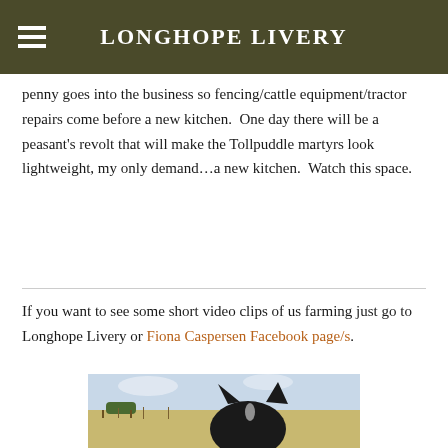LONGHOPE LIVERY
penny goes into the business so fencing/cattle equipment/tractor repairs come before a new kitchen.  One day there will be a peasant’s revolt that will make the Tollpuddle martyrs look lightweight, my only demand…a new kitchen.  Watch this space.
If you want to see some short video clips of us farming just go to Longhope Livery or Fiona Caspersen Facebook page/s.
[Figure (photo): A black horse or dog viewed from behind, standing in a field with golden grass and a fence visible in the background under a pale sky.]